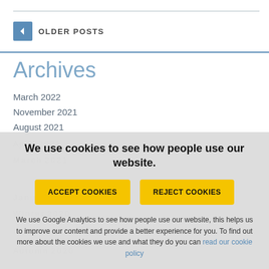OLDER POSTS
Archives
March 2022
November 2021
August 2021
July 2021
We use cookies to see how people use our website.
ACCEPT COOKIES
REJECT COOKIES
We use Google Analytics to see how people use our website, this helps us to improve our content and provide a better experience for you. To find out more about the cookies we use and what they do you can read our cookie policy